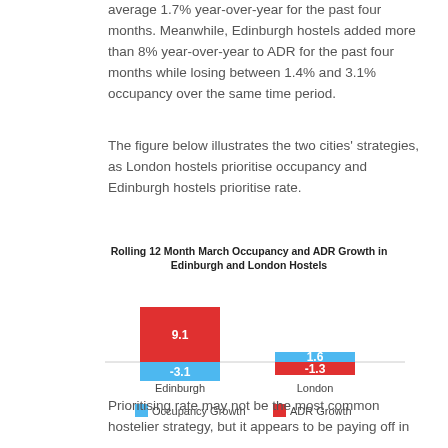average 1.7% year-over-year for the past four months. Meanwhile, Edinburgh hostels added more than 8% year-over-year to ADR for the past four months while losing between 1.4% and 3.1% occupancy over the same time period.
The figure below illustrates the two cities’ strategies, as London hostels prioritise occupancy and Edinburgh hostels prioritise rate.
[Figure (grouped-bar-chart): Rolling 12 Month March Occupancy and ADR Growth in Edinburgh and London Hostels]
Prioritising rate may not be the most common hostelier strategy, but it appears to be paying off in